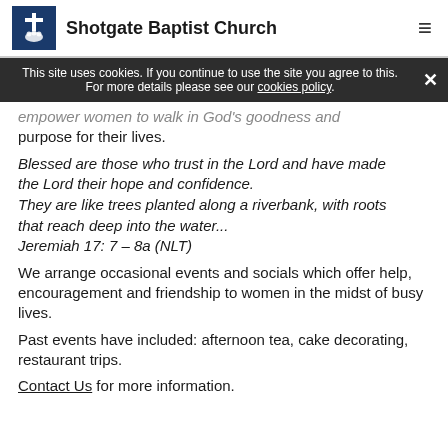Shotgate Baptist Church
This site uses cookies. If you continue to use the site you agree to this. For more details please see our cookies policy.
empower women to walk in God's goodness and purpose for their lives.
Blessed are those who trust in the Lord and have made the Lord their hope and confidence.
They are like trees planted along a riverbank, with roots that reach deep into the water...
Jeremiah 17: 7 – 8a (NLT)
We arrange occasional events and socials which offer help, encouragement and friendship to women in the midst of busy lives.
Past events have included: afternoon tea, cake decorating, restaurant trips.
Contact Us for more information.